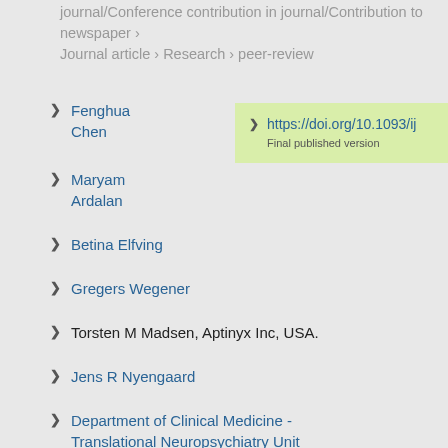journal/Conference contribution in journal/Contribution to newspaper › Journal article › Research › peer-review
Fenghua Chen
https://doi.org/10.1093/ij… Final published version
Maryam Ardalan
Betina Elfving
Gregers Wegener
Torsten M Madsen, Aptinyx Inc, USA.
Jens R Nyengaard
Department of Clinical Medicine - Translational Neuropsychiatry Unit
Department of Clinical Medicine - Core Centre for Molecular Morphology, Section